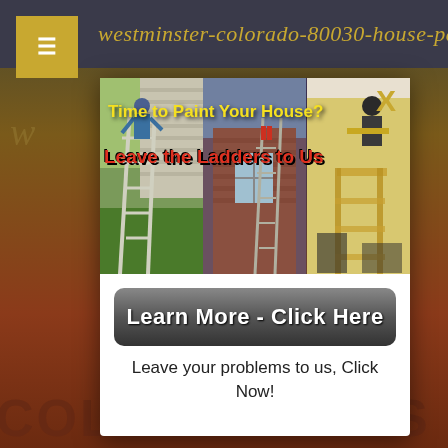westminster-colorado-80030-house-painting-inter
[Figure (screenshot): Modal popup advertisement for house painting service showing three panels of ladder/painting images with overlaid text 'Time to Paint Your House?' and 'Leave the Ladders to Us', a 'Learn More - Click Here' button, and caption 'Leave your problems to us, Click Now!']
Leave your problems to us, Click Now!